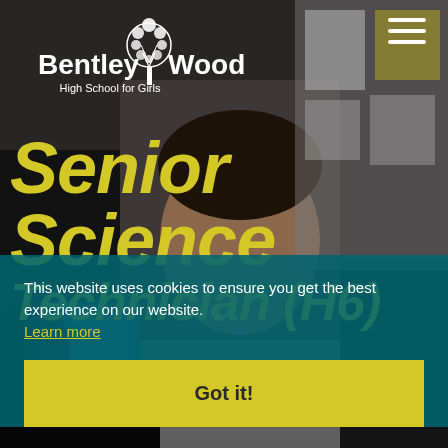[Figure (photo): School classroom photo with a male teacher looking down at work, a student on the left, and educational materials/bulletin board visible in the background. Bentley Wood High School for Girls website screenshot.]
Senior Science Technician (H6)
This website uses cookies to ensure you get the best experience on our website. Learn more
Got it!